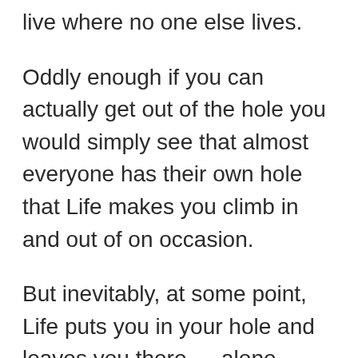live where no one else lives.
Oddly enough if you can actually get out of the hole you would simply see that almost everyone has their own hole that Life makes you climb in and out of on occasion.
But inevitably, at some point, Life puts you in your hole and leaves you there … alone … with your thoughts, These are thoughts of how different you are or how different you think or simply how different your life is from every one else … and Life